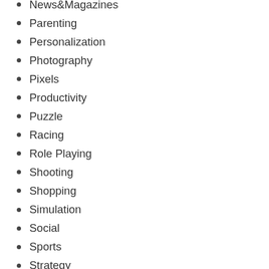News&Magazines
Parenting
Personalization
Photography
Pixels
Productivity
Puzzle
Racing
Role Playing
Shooting
Shopping
Simulation
Social
Sports
Strategy
Survival
Tools
Travel&Local
Trivia
Uncategorized